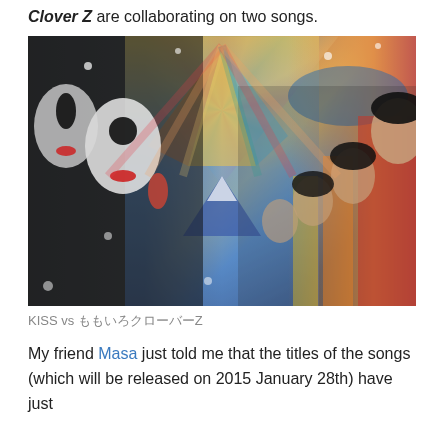Clover Z are collaborating on two songs.
[Figure (photo): Promotional photo showing KISS band members (in full black-and-white face paint makeup) on the left side facing right, and Japanese idol group members wearing traditional kimono on the right side, against a colorful Japanese art-inspired background featuring sunburst rays, Mt. Fuji, and The Great Wave motif.]
KISS vs ももいろクローバーZ
My friend Masa just told me that the titles of the songs (which will be released on 2015 January 28th) have just